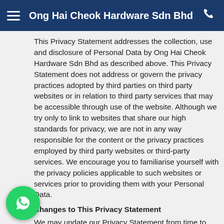Ong Hai Cheok Hardware Sdn Bhd
This Privacy Statement addresses the collection, use and disclosure of Personal Data by Ong Hai Cheok Hardware Sdn Bhd as described above. This Privacy Statement does not address or govern the privacy practices adopted by third parties on third party websites or in relation to third party services that may be accessible through use of the website. Although we try only to link to websites that share our high standards for privacy, we are not in any way responsible for the content or the privacy practices employed by third party websites or third-party services. We encourage you to familiarise yourself with the privacy policies applicable to such websites or services prior to providing them with your Personal Data.
8. Changes to This Privacy Statement
We may update our Privacy Statement from time to time. If such updates are minor and do not have a material meaning for your rights or the way we use Personal Data, we may make such changes without posting a specific notice on our website. You are advised to review this Privacy Statement periodically for any changes.